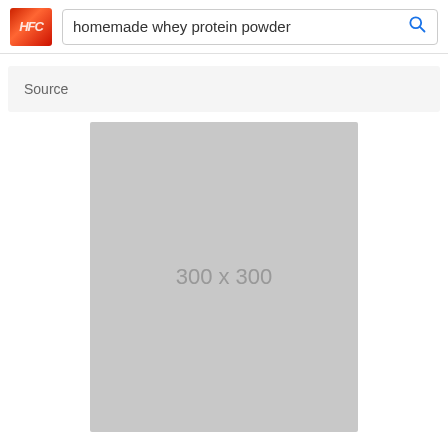homemade whey protein powder
Source
[Figure (other): Gray placeholder image box with text '300 x 300' in the center, representing a 300x300 pixel image placeholder]